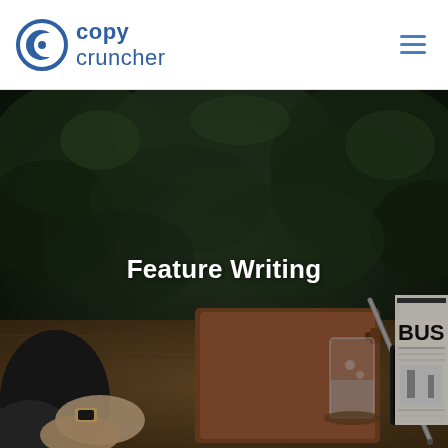[Figure (logo): Copy Cruncher logo: circular blue C icon on left, bold blue text 'copy' above lighter 'cruncher' on right]
[Figure (photo): Outdoor scene showing a person's hands on a wooden table with a leather notebook, glass of water, tablet showing '5I:8' or similar, pen/stylus, and a folded newspaper with 'BUS' visible. Dark green foliage in background. Moody, dark-toned photo.]
Feature Writing